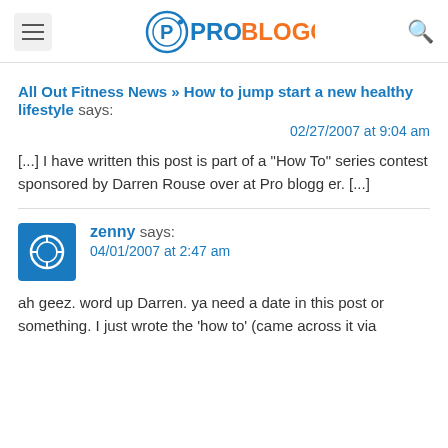ProBlogger
All Out Fitness News » How to jump start a new healthy lifestyle says:
02/27/2007 at 9:04 am
[...] I have written this post is part of a "How To" series contest sponsored by Darren Rouse over at Pro blogger. [...]
zenny says:
04/01/2007 at 2:47 am
ah geez. word up Darren. ya need a date in this post or something. I just wrote the 'how to' (came across it via